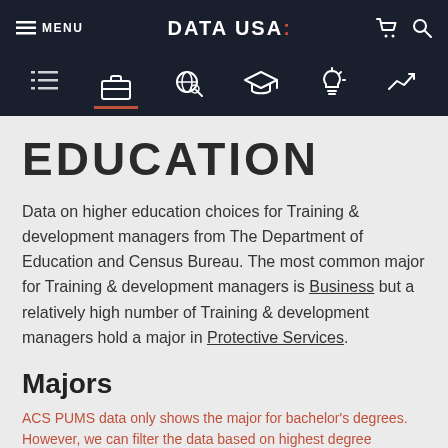MENU | DATA USA: | [cart] [search]
[list] [briefcase] [search-globe] [graduation-cap] [lightbulb] [chart]
EDUCATION
Data on higher education choices for Training & development managers from The Department of Education and Census Bureau. The most common major for Training & development managers is Business but a relatively high number of Training & development managers hold a major in Protective Services.
Majors
ACS PUMS data only shows the major for bachelor's degrees. However, we can filter the data based on highest degree